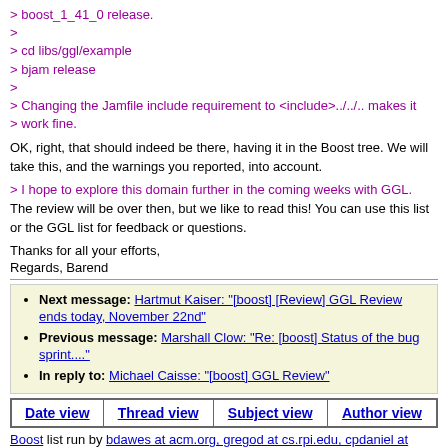> boost_1_41_0 release.
>
> cd libs/ggl/example
> bjam release
>
> Changing the Jamfile include requirement to <include>../../.. makes it
> work fine.
OK, right, that should indeed be there, having it in the Boost tree. We will take this, and the warnings you reported, into account.
> I hope to explore this domain further in the coming weeks with GGL.
The review will be over then, but we like to read this! You can use this list or the GGL list for feedback or questions.
Thanks for all your efforts,
Regards, Barend
Next message: Hartmut Kaiser: "[boost] [Review] GGL Review ends today, November 22nd"
Previous message: Marshall Clow: "Re: [boost] Status of the bug sprint...."
In reply to: Michael Caisse: "[boost] GGL Review"
| Date view | Thread view | Subject view | Author view |
| --- | --- | --- | --- |
Boost list run by bdawes at acm.org, gregod at cs.rpi.edu, cpdaniel at pacbell.net, john at johnmaddock.co.uk